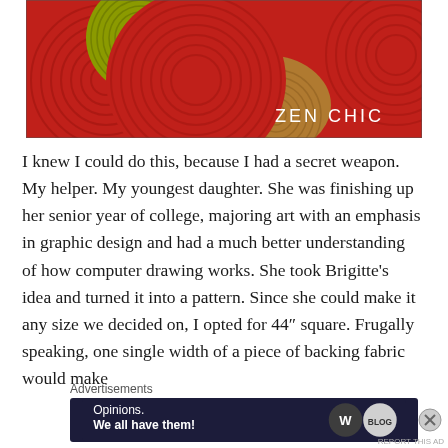[Figure (illustration): Decorative fabric design image featuring red background with concentric spiral patterns in dark red, a yellow-green spiral circle at top left, and tan/gold spiral shapes. Text 'ZEN CHIC' in white at bottom right.]
I knew I could do this, because I had a secret weapon. My helper. My youngest daughter. She was finishing up her senior year of college, majoring art with an emphasis in graphic design and had a much better understanding of how computer drawing works. She took Brigitte's idea and turned it into a pattern. Since she could make it any size we decided on, I opted for 44" square. Frugally speaking, one single width of a piece of backing fabric would make
Advertisements
[Figure (screenshot): Advertisement banner with dark background showing text 'Opinions. We all have them!' with WordPress and Blog.com logos on the right side.]
REPORT THIS AD